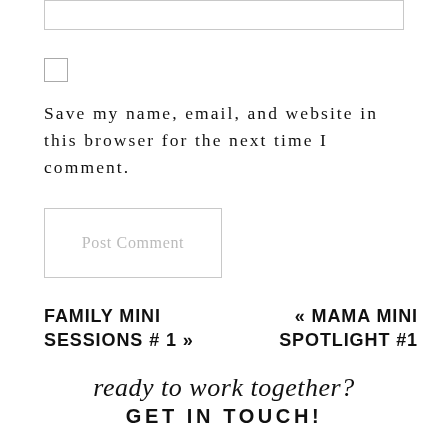[Figure (other): Text input field (form element, empty)]
[Figure (other): Checkbox (unchecked form element)]
Save my name, email, and website in this browser for the next time I comment.
[Figure (other): Post Comment button (form submit button with border)]
FAMILY MINI SESSIONS # 1 »
« MAMA MINI SPOTLIGHT #1
ready to work together?
GET IN TOUCH!